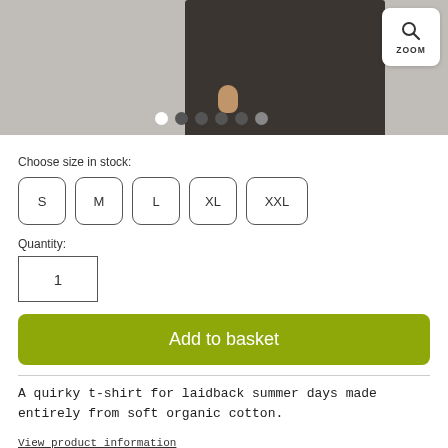[Figure (photo): Product photo of dark colored pants/clothing worn by a person, shown from waist down. Carousel dots navigation visible at bottom. Zoom button in top right corner.]
Choose size in stock:
S  M  L  XL  XXL
Quantity:
1
Add to basket
A quirky t-shirt for laidback summer days made entirely from soft organic cotton.
View product information